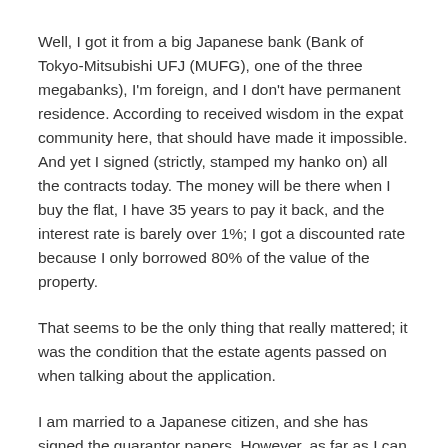Well, I got it from a big Japanese bank (Bank of Tokyo-Mitsubishi UFJ (MUFG), one of the three megabanks), I'm foreign, and I don't have permanent residence. According to received wisdom in the expat community here, that should have made it impossible. And yet I signed (strictly, stamped my hanko on) all the contracts today. The money will be there when I buy the flat, I have 35 years to pay it back, and the interest rate is barely over 1%; I got a discounted rate because I only borrowed 80% of the value of the property.
That seems to be the only thing that really mattered; it was the condition that the estate agents passed on when talking about the application.
I am married to a Japanese citizen, and she has signed the guarantor papers. However, as far as I can tell, that was only because we are going to jointly own the flat, and thus I can't secure a mortgage on it without her agreement. They certainly didn't require any evidence of her income, which is probably just as well; in the most recent year we can provide evidence for, she earned nothing, because she hadn't gone back to work. And even now, three days a week part-time wouldn't pay the mortgage.